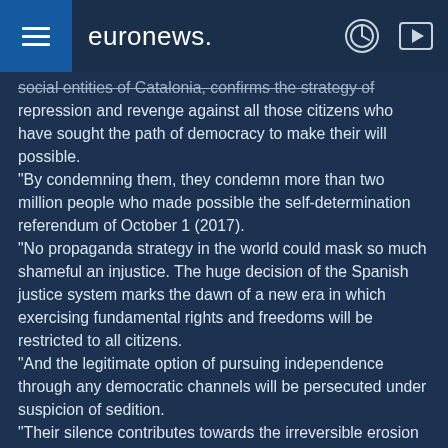euronews.
social entities of Catalonia, confirms the strategy of repression and revenge against all those citizens who have sought the path of democracy to make their will possible. "By condemning them, they condemn more than two million people who made possible the self-determination referendum of October 1 (2017). "No propaganda strategy in the world could mask so much shameful an injustice. The huge decision of the Spanish justice system marks the dawn of a new era in which exercising fundamental rights and freedoms will be restricted to all citizens. "And the legitimate option of pursuing independence through any democratic channels will be persecuted under suspicion of sedition. "Their silence contributes towards the irreversible erosion of a Spanish democracy. The Europe that says nothing in the face of the Turkish atrocities against the Kurds, is the same Europe that kept quiet when the police in a member state used terrifying violence as they attacked people going to